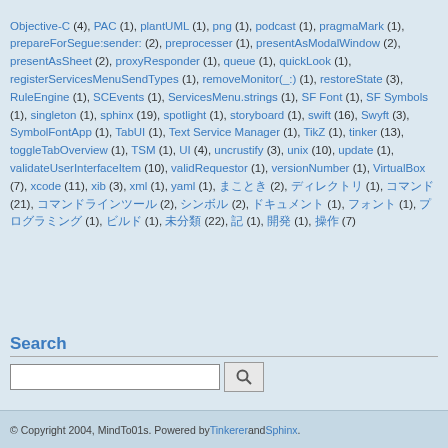Objective-C (4), PAC (1), plantUML (1), png (1), podcast (1), pragmaMark (1), prepareForSegue:sender: (2), preprocesser (1), presentAsModalWindow (2), presentAsSheet (2), proxyResponder (1), queue (1), quickLook (1), registerServicesMenuSendTypes (1), removeMonitor(_:) (1), restoreState (3), RuleEngine (1), SCEvents (1), ServicesMenu.strings (1), SF Font (1), SF Symbols (1), singleton (1), sphinx (19), spotlight (1), storyboard (1), swift (16), Swyft (3), SymbolFontApp (1), TabUI (1), Text Service Manager (1), TikZ (1), tinker (13), toggleTabOverview (1), TSM (1), UI (4), uncrustify (3), unix (10), update (1), validateUserInterfaceItem (10), validRequestor (1), versionNumber (1), VirtualBox (7), xcode (11), xib (3), xml (1), yaml (1), ... (2), ... (1), ... (21), ... (2), ... (2), ... (1), ... (1), ... (1), ... (1), ... (22), ... (1), ... (1), ... (7)
Search
[Figure (other): Search input box with a search button (magnifying glass icon)]
© Copyright 2004, MindTo01s. Powered by Tinkerer and Sphinx.